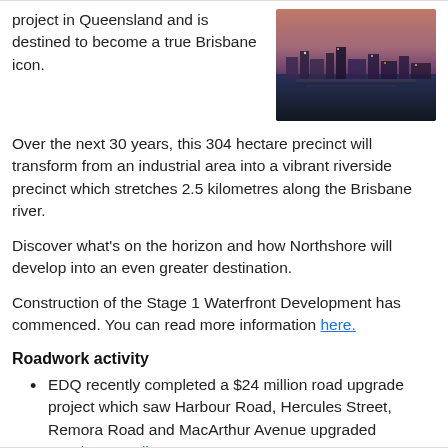project in Queensland and is destined to become a true Brisbane icon.
[Figure (photo): Aerial photo of Northshore Brisbane riverside precinct at dusk, showing waterfront development and city lights.]
Over the next 30 years, this 304 hectare precinct will transform from an industrial area into a vibrant riverside precinct which stretches 2.5 kilometres along the Brisbane river.
Discover what’s on the horizon and how Northshore will develop into an even greater destination.
Construction of the Stage 1 Waterfront Development has commenced. You can read more information here.
Roadwork activity
EDQ recently completed a $24 million road upgrade project which saw Harbour Road, Hercules Street, Remora Road and MacArthur Avenue upgraded   Continue reading